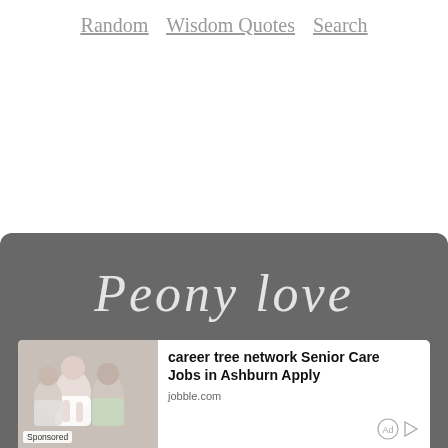Random   Wisdom Quotes   Search
[Figure (photo): Advertisement banner with dark gray background showing cursive script text 'Peony love' partially visible. Below is an ad unit showing people (elderly care scene) with text 'career tree network Senior Care Jobs in Ashburn Apply' and domain 'jobble.com', labeled 'Sponsored']